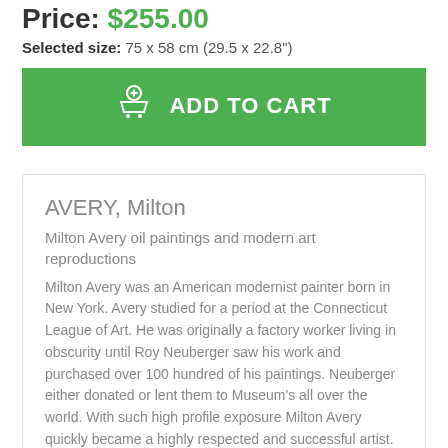Price: $255.00
Selected size: 75 x 58 cm (29.5 x 22.8")
ADD TO CART
AVERY, Milton
Milton Avery oil paintings and modern art reproductions
Milton Avery was an American modernist painter born in New York. Avery studied for a period at the Connecticut League of Art. He was originally a factory worker living in obscurity until Roy Neuberger saw his work and purchased over 100 hundred of his paintings. Neuberger either donated or lent them to Museum's all over the world. With such high profile exposure Milton Avery quickly became a highly respected and successful artist. Milton Avery's paintings and reproductions are very popular.